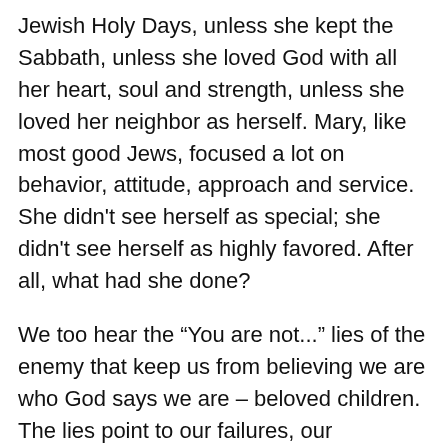Jewish Holy Days, unless she kept the Sabbath, unless she loved God with all her heart, soul and strength, unless she loved her neighbor as herself. Mary, like most good Jews, focused a lot on behavior, attitude, approach and service. She didn't see herself as special; she didn't see herself as highly favored. After all, what had she done?
We too hear the “You are not...” lies of the enemy that keep us from believing we are who God says we are – beloved children. The lies point to our failures, our weaknesses, our fears and anxieties, our sin, and they tell us God can't possibly love someone as wretched as we are. The lies tell us our sins are bigger than God's forgiveness. They try to convince us that God's grace is only for a few and his forgiveness depends on